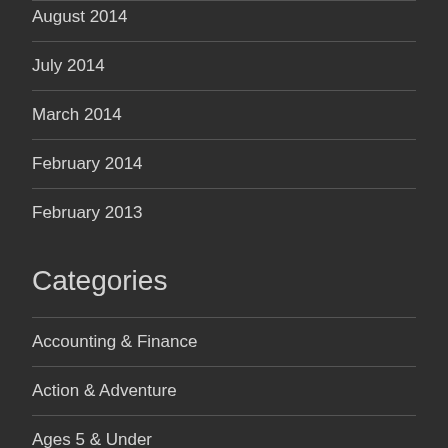August 2014
July 2014
March 2014
February 2014
February 2013
Categories
Accounting & Finance
Action & Adventure
Ages 5 & Under
Aging & Longevity